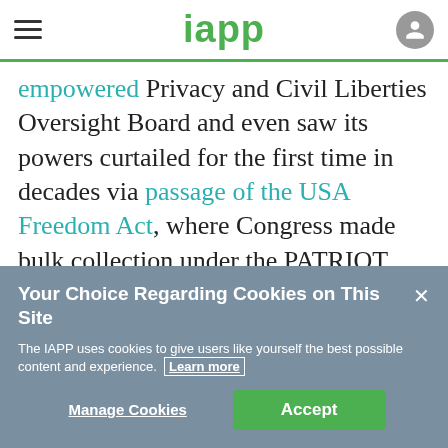iapp
empowered Privacy and Civil Liberties Oversight Board and even saw its powers curtailed for the first time in decades via passage of the USA Freedom Act, where Congress made bulk collection under the PATRIOT Act illegal. And, of course, the U.S.-EU Safe Harbor agreement was
Your Choice Regarding Cookies on This Site
The IAPP uses cookies to give users like yourself the best possible content and experience. Learn more
Manage Cookies  Accept